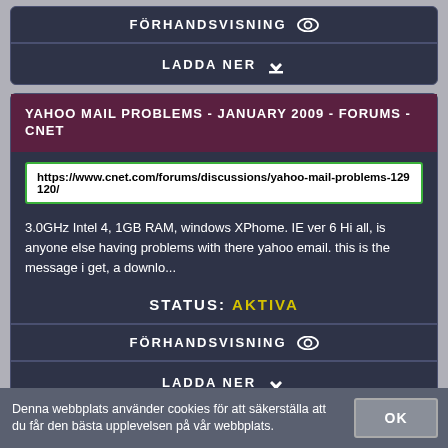FÖRHANDSVISNING
LADDA NER
YAHOO MAIL PROBLEMS - JANUARY 2009 - FORUMS - CNET
https://www.cnet.com/forums/discussions/yahoo-mail-problems-129120/
3.0GHz Intel 4, 1GB RAM, windows XPhome. IE ver 6 Hi all, is anyone else having problems with there yahoo email. this is the message i get, a downlo...
STATUS: AKTIVA
FÖRHANDSVISNING
LADDA NER
Denna webbplats använder cookies för att säkerställa att du får den bästa upplevelsen på vår webbplats.